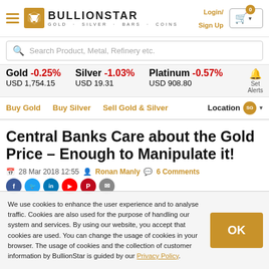BULLIONSTAR · GOLD · SILVER · BARS · COINS
Search Product, Metal, Refinery etc.
Gold -0.25% USD 1,754.15   Silver -1.03% USD 19.31   Platinum -0.57% USD 908.80
Buy Gold   Buy Silver   Sell Gold & Silver   Location SG
Central Banks Care about the Gold Price – Enough to Manipulate it!
28 Mar 2018 12:55   Ronan Manly   6 Comments
We use cookies to enhance the user experience and to analyse traffic. Cookies are also used for the purpose of handling our system and services. By using our website, you accept that cookies are used. You can change the usage of cookies in your browser. The usage of cookies and the collection of customer information by BullionStar is guided by our Privacy Policy.